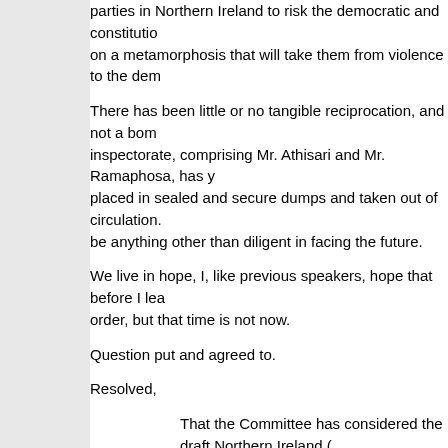parties in Northern Ireland to risk the democratic and constitutional future on a metamorphosis that will take them from violence to the democratic
There has been little or no tangible reciprocation, and not a bomb inspectorate, comprising Mr. Athisari and Mr. Ramaphosa, has placed in sealed and secure dumps and taken out of circulation. be anything other than diligent in facing the future.
We live in hope, I, like previous speakers, hope that before I leave order, but that time is not now.
Question put and agreed to.
Resolved,
That the Committee has considered the draft Northern Ireland ( 2000.
Committee rose at nineteen minutes to Five o
The following Members attended the Committee:
Stevenson, Mr. George (Chairman)
Borrow, Mr.
Browne, Mr.
Buck, Ms
Dowd, Mr.
Ingram, Mr.
Laxton, Mr.
Maginnis, Mr.
Matos, Mr.